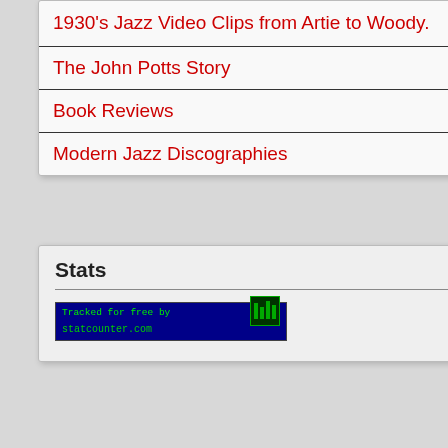1930's Jazz Video Clips from Artie to Woody.
The John Potts Story
Book Reviews
Modern Jazz Discographies
Stats
[Figure (screenshot): StatCounter tracking badge showing 'Tracked for free by statcounter.com' with green text on dark background]
With Our Girl (Dary...
Fontella Bass and th...
Jazz Jam @ Hoochie...
Tomorrow night on l...
Graham Hardy and V...
Jazz Attack
Sir Richard Rodney ...
Whitley Bay Classic...
Jazz in the Afternoon...
Cartoon from Carsta...
JOE ALBANY... A J...
Piano Jazz Xmas Tra...
Jazz At The Lit And ...
Rachel O'Reilly sing...